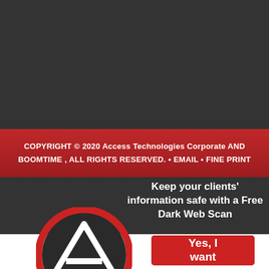[Figure (logo): Dark gray background occupying the top portion of the page]
COPYRIGHT © 2020 Access Technologies Corporate AND BOOMTIME , ALL RIGHTS RESERVED. • EMAIL • FINE PRINT
Keep your clients' information safe with a Free Dark Web Scan
[Figure (logo): Access Technologies / Boomtime logo: red circle with white upward-pointing triangle/arrow symbol]
Yes, I want
No Thanks